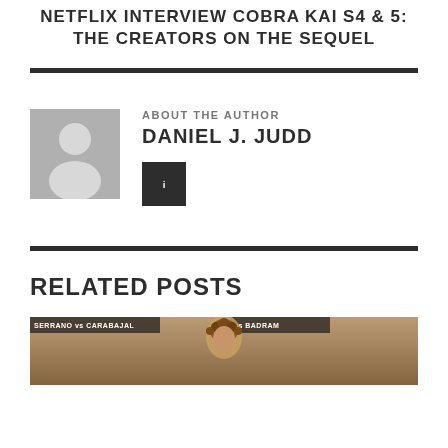NETFLIX INTERVIEW COBRA KAI S4 & 5: THE CREATORS ON THE SEQUEL
ABOUT THE AUTHOR
DANIEL J. JUDD
[Figure (illustration): Generic author avatar placeholder — grey silhouette of a person on grey background]
[Figure (illustration): Dark square social media icon button with a letter or symbol in white]
RELATED POSTS
[Figure (photo): Partial image of a person at what appears to be a boxing or sports event, with text banners visible reading SERRANO vs CARABAJAL and BADRAM]